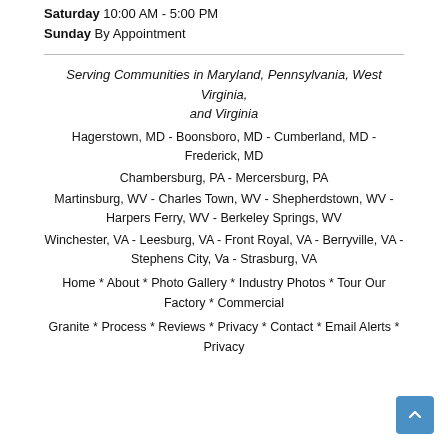Saturday 10:00 AM - 5:00 PM
Sunday By Appointment
Serving Communities in Maryland, Pennsylvania, West Virginia, and Virginia
Hagerstown, MD - Boonsboro, MD - Cumberland, MD - Frederick, MD
Chambersburg, PA - Mercersburg, PA
Martinsburg, WV - Charles Town, WV - Shepherdstown, WV - Harpers Ferry, WV - Berkeley Springs, WV
Winchester, VA - Leesburg, VA - Front Royal, VA - Berryville, VA - Stephens City, Va - Strasburg, VA
Home * About * Photo Gallery * Industry Photos * Tour Our Factory * Commercial
Granite * Process * Reviews * Privacy * Contact * Email Alerts * Privacy